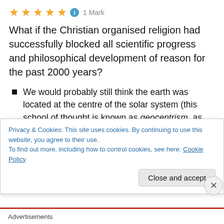[Figure (other): Five gold star rating icons followed by a blue info circle icon and '1 Mark' label]
What if the Christian organised religion had successfully blocked all scientific progress and philosophical development of reason for the past 2000 years?
We would probably still think the earth was located at the centre of the solar system (this school of thought is known as geocentrism, as opposed to heliocentrism), despite what brilliant astronomers like Copernicus and Galileo have argued.
We would still think that the sun revolved around the
Privacy & Cookies: This site uses cookies. By continuing to use this website, you agree to their use.
To find out more, including how to control cookies, see here: Cookie Policy
Close and accept
Advertisements